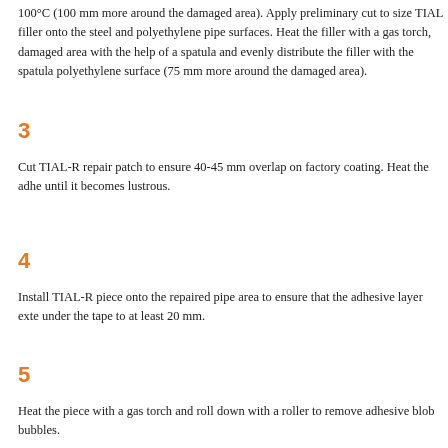100°C (100 mm more around the damaged area). Apply preliminary cut to size TIAL filler onto the steel and polyethylene pipe surfaces. Heat the filler with a gas torch, damaged area with the help of a spatula and evenly distribute the filler with the spatula polyethylene surface (75 mm more around the damaged area).
3
Cut TIAL-R repair patch to ensure 40-45 mm overlap on factory coating. Heat the adhe until it becomes lustrous.
4
Install TIAL-R piece onto the repaired pipe area to ensure that the adhesive layer exte under the tape to at least 20 mm.
5
Heat the piece with a gas torch and roll down with a roller to remove adhesive blob bubbles.